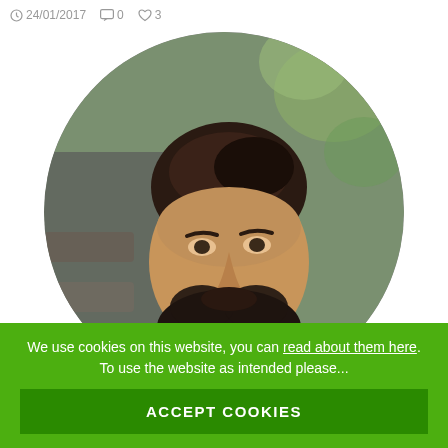24/01/2017  0  3
[Figure (photo): Circular cropped portrait photo of a bearded man in a light blue denim shirt, sitting outdoors with a blurred green background.]
We use cookies on this website, you can read about them here. To use the website as intended please...
ACCEPT COOKIES